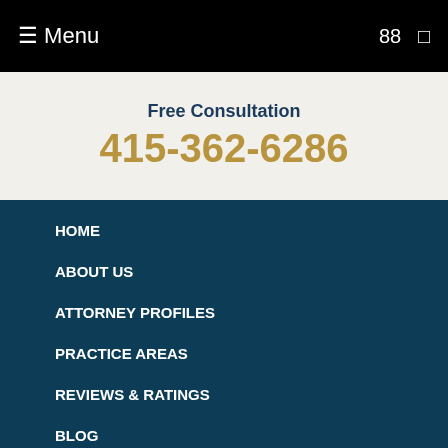☰ Menu  88 □
Free Consultation
415-362-6286
HOME
ABOUT US
ATTORNEY PROFILES
PRACTICE AREAS
REVIEWS & RATINGS
BLOG
CONTACT US
MAP & DIRECTIONS